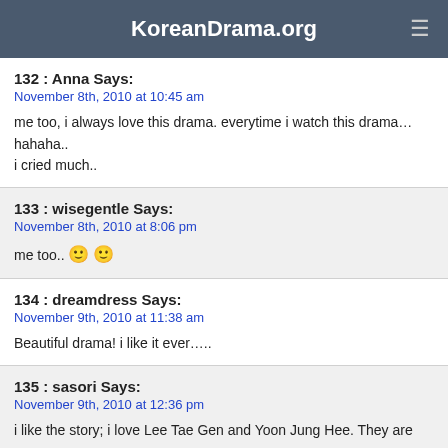KoreanDrama.org
132 : Anna Says:
November 8th, 2010 at 10:45 am

me too, i always love this drama. everytime i watch this drama… hahaha..
i cried much..
133 : wisegentle Says:
November 8th, 2010 at 8:06 pm

me too.. 🙂 🙂
134 : dreamdress Says:
November 9th, 2010 at 11:38 am

Beautiful drama! i like it ever…..
135 : sasori Says:
November 9th, 2010 at 12:36 pm

i like the story; i love Lee Tae Gen and Yoon Jung Hee. They are